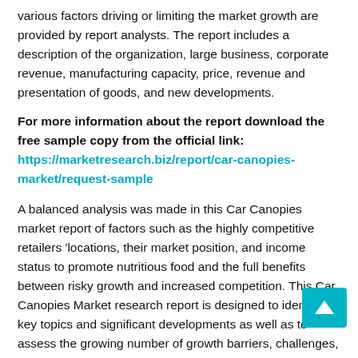various factors driving or limiting the market growth are provided by report analysts. The report includes a description of the organization, large business, corporate revenue, manufacturing capacity, price, revenue and presentation of goods, and new developments.
For more information about the report download the free sample copy from the official link: https://marketresearch.biz/report/car-canopies-market/request-sample
A balanced analysis was made in this Car Canopies market report of factors such as the highly competitive retailers 'locations, their market position, and income status to promote nutritious food and the full benefits between risky growth and increased competition. This Car Canopies Market research report is designed to identify key topics and significant developments as well as to assess the growing number of growth barriers, challenges, and threats, as well as to assess the potential for integrated growth in the Car Canopies global market.